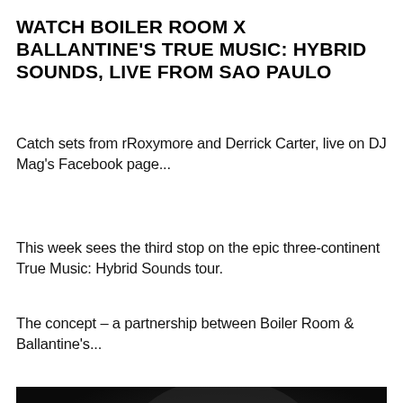WATCH BOILER ROOM X BALLANTINE'S TRUE MUSIC: HYBRID SOUNDS, LIVE FROM SAO PAULO
Catch sets from rRoxymore and Derrick Carter, live on DJ Mag's Facebook page...
This week sees the third stop on the epic three-continent True Music: Hybrid Sounds tour.
The concept – a partnership between Boiler Room & Ballantine's...
[Figure (photo): Black and white portrait photo of a person, head and shoulders visible against a dark gradient background, shot from a slight angle looking to the side.]